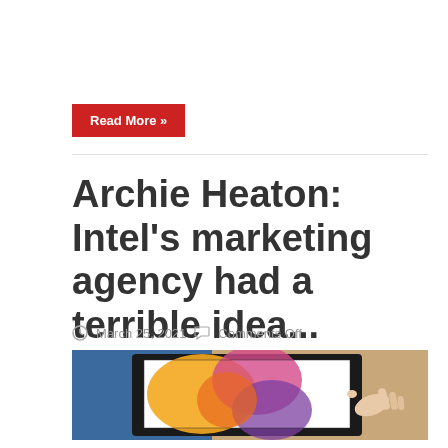Read More »
Archie Heaton: Intel's marketing agency had a terrible idea...
March 25, 2021   Comments Off
[Figure (photo): A hand touching a tablet screen displaying colorful abstract art, on a wooden surface]